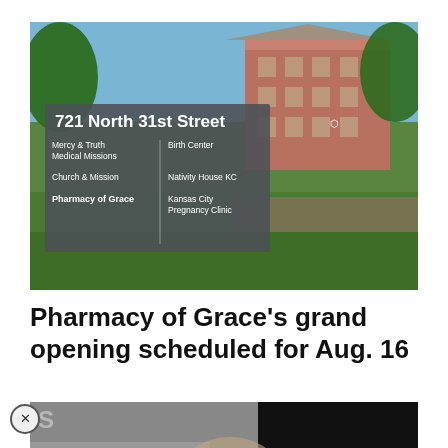[Figure (photo): Outdoor photo showing a sign at 721 North 31st Street listing Mercy & Truth Medical Missions, Birth Center, Church & Mission, Nativity House KC, Pharmacy of Grace, Kansas City Pregnancy Clinic, with a brick building and green lawn in the background]
Pharmacy of Grace's grand opening scheduled for Aug. 16
[Figure (photo): Partially visible second photo at bottom of page, largely dark/obscured, with a close (X) button overlay]